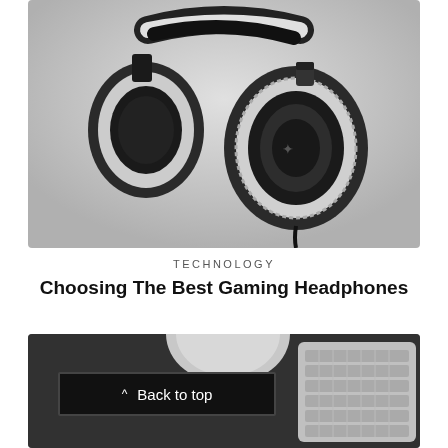[Figure (photo): Black and white photo of a gaming headset (Razer) with white ear cups and black padding, suspended in air against a light gray blurred background]
TECHNOLOGY
Choosing The Best Gaming Headphones
[Figure (photo): Black and white photo showing a white circular mouse and an Apple keyboard on a dark gray desk surface, partially visible]
Back to top